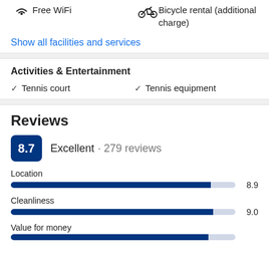Free WiFi
Bicycle rental (additional charge)
Show all facilities and services
Activities & Entertainment
Tennis court
Tennis equipment
Reviews
8.7 Excellent · 279 reviews
Location 8.9
Cleanliness 9.0
Value for money